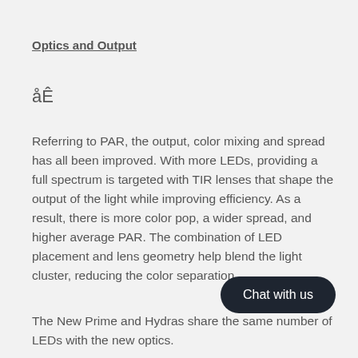Optics and Output
åÊ
Referring to PAR, the output, color mixing and spread has all been improved. With more LEDs, providing a full spectrum is targeted with TIR lenses that shape the output of the light while improving efficiency. As a result, there is more color pop, a wider spread, and higher average PAR. The combination of LED placement and lens geometry help blend the light cluster, reducing the color separation.
The New Prime and Hydras share the same number of LEDs with the new optics.